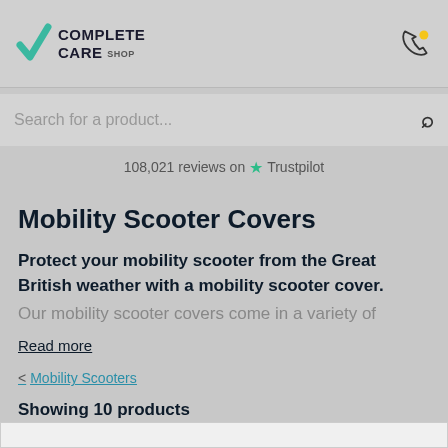Complete Care Shop — logo and phone icon header
Search for a product...
108,021 reviews on Trustpilot
Mobility Scooter Covers
Protect your mobility scooter from the Great British weather with a mobility scooter cover. Our mobility scooter covers come in a variety of
Read more
< Mobility Scooters
Showing 10 products